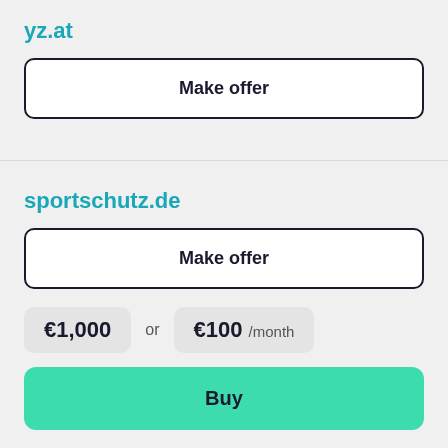yz.at
Make offer
sportschutz.de
Make offer
fleecbenlicht.de
€1,000 or €100 /month
Buy